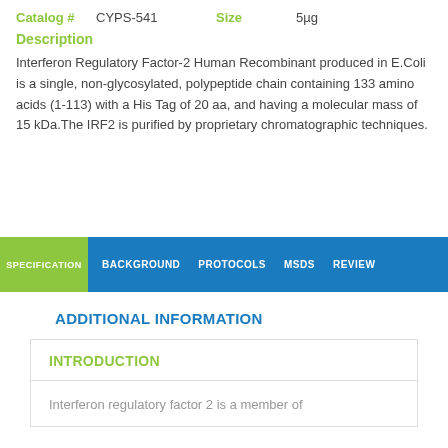Catalog #   CYPS-541   Size   5µg
Description
Interferon Regulatory Factor-2 Human Recombinant produced in E.Coli is a single, non-glycosylated, polypeptide chain containing 133 amino acids (1-113) with a His Tag of 20 aa, and having a molecular mass of 15 kDa.The IRF2 is purified by proprietary chromatographic techniques.
SPECIFICATION  BACKGROUND  PROTOCOLS  MSDS  REVIEW
ADDITIONAL INFORMATION
INTRODUCTION
Interferon regulatory factor 2 is a member of